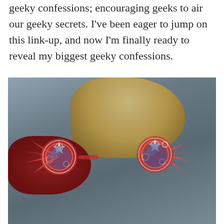geeky confessions; encouraging geeks to air our geeky secrets. I've been eager to jump on this link-up, and now I'm finally ready to reveal my biggest geeky confessions.
[Figure (photo): Person wearing large decorative red patterned novelty glasses with star and swirl designs, partially obscuring face. A cookie consent overlay appears in the lower portion of the image.]
Privacy & Cookies: This site uses cookies. By continuing to use this website, you agree to their use.
To find out more, including how to control cookies, see here: Cookie Policy
Close and accept